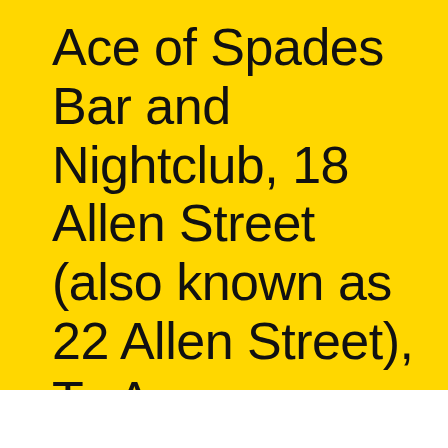Ace of Spades Bar and Nightclub, 18 Allen Street (also known as 22 Allen Street), Te Aro, Wellington